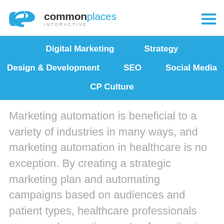commonplaces INTERACTIVE
Digital Marketing | Strategy | Design & Development | SEO | Social Media | CP Culture
Marketing automation is beneficial to a variety of industries in many ways, and marketing automation in healthcare is no exception. By creating a strategic marketing plan and automating campaigns based on audiences and patient types, healthcare professionals can spend more time caring for patients and improving the services they